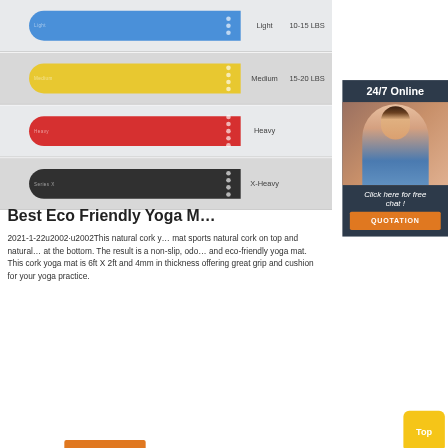[Figure (photo): Four resistance bands in blue (Light 10-15 LBS), yellow (Medium 15-20 LBS), red (Heavy), and black (X-Heavy) colors, each shown as a loop band with dots on the side, displayed against a light gray background with resistance level and weight labels.]
Best Eco Friendly Yoga M...
2021-1-22u2002·u2002This natural cork yoga mat sports natural cork on top and natural rubber at the bottom. The result is a non-slip, odor-free and eco-friendly yoga mat. This cork yoga mat is 6ft X 2ft and 4mm in thickness offering great grip and cushion for your yoga practice.
[Figure (photo): 24/7 Online chat widget with a woman wearing a headset, with text 'Click here for free chat!' and an orange QUOTATION button.]
Get Price
Top